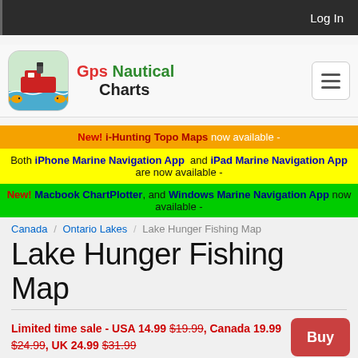Log In
[Figure (logo): GPS Nautical Charts app logo with ship and fish]
Gps Nautical Charts
New! i-Hunting Topo Maps now available -
Both iPhone Marine Navigation App and iPad Marine Navigation App are now available -
New! Macbook ChartPlotter, and Windows Marine Navigation App now available -
Canada / Ontario Lakes / Lake Hunger Fishing Map
Lake Hunger Fishing Map
Limited time sale - USA 14.99 $19.99, Canada 19.99 $24.99, UK 24.99 $31.99